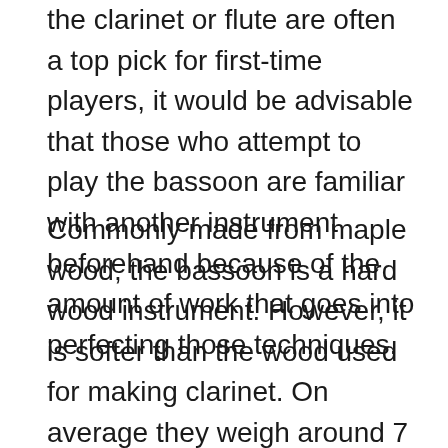the clarinet or flute are often a top pick for first-time players, it would be advisable that those who attempt to play the bassoon are familiar with another instrument beforehand because of the amount of work that goes into perfecting those techniques.
Commonly made from maple wood, the bassoon is a hard wood instrument. However, it is softer than the wood used for making clarinet. On average they weigh around 7 and a half pounds making it one of the heaviest instruments in the orchestral family.
Despite its odd-looking structure, it is an instrument that should be taken seriously when learning as the techniques needed are among the most complex from any instruments, especially the double reed that is used